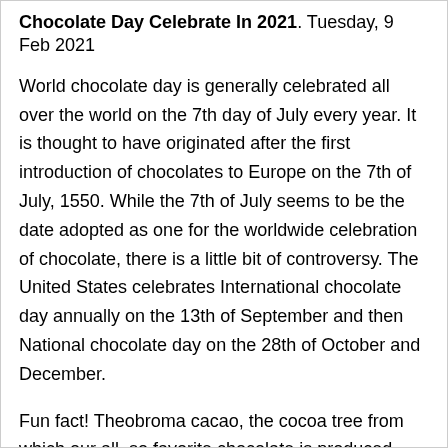Chocolate Day Celebrate In 2021. Tuesday, 9 Feb 2021
World chocolate day is generally celebrated all over the world on the 7th day of July every year. It is thought to have originated after the first introduction of chocolates to Europe on the 7th of July, 1550. While the 7th of July seems to be the date adopted as one for the worldwide celebration of chocolate, there is a little bit of controversy. The United States celebrates International chocolate day annually on the 13th of September and then National chocolate day on the 28th of October and December.
Fun fact! Theobroma cacao, the cocoa tree from which our all, so favorite chocolate is produced, was once loved and worshipped by Mayans and Aztecs of Central and South America many centuries ago. . From being an item that belonged to the gods to being a currency and then a crop of global importance, cocoa has gained so much popularity. Chocolate is said to have originated in America, but today Cote d'Ivoire produces about 30% of the world's total supply